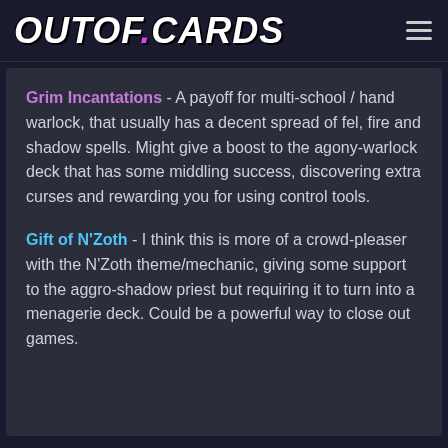OUTOF.CARDS
Grim Incantations - A payoff for multi-school / hand warlock, that usually has a decent spread of fel, fire and shadow spells. Might give a boost to the agony-warlock deck that has some middling success, discovering extra curses and rewarding you for using control tools.
Gift of N'Zoth - I think this is more of a crowd-pleaser with the N'Zoth theme/mechanic, giving some support to the aggro-shadow priest but requiring it to turn into a menagerie deck. Could be a powerful way to close out games.